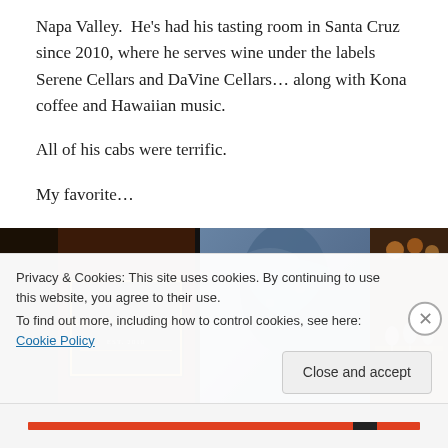Napa Valley.  He's had his tasting room in Santa Cruz since 2010, where he serves wine under the labels Serene Cellars and DaVine Cellars… along with Kona coffee and Hawaiian music.
All of his cabs were terrific.
My favorite…
[Figure (photo): Photo of a wine bottle with 'Serene Cellars' label in foreground, a person in Hawaiian shirt in the middle, and wine glasses/bar shelves on the right]
Privacy & Cookies: This site uses cookies. By continuing to use this website, you agree to their use.
To find out more, including how to control cookies, see here: Cookie Policy
Close and accept